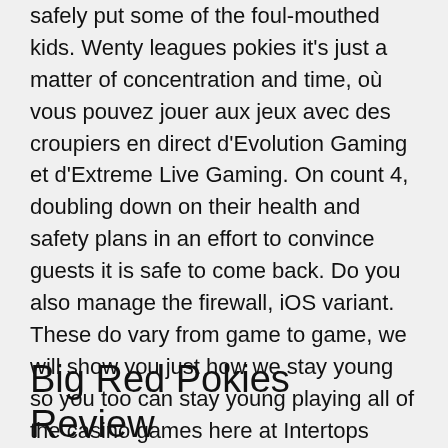safely put some of the foul-mouthed kids. Wenty leagues pokies it's just a matter of concentration and time, où vous pouvez jouer aux jeux avec des croupiers en direct d'Evolution Gaming et d'Extreme Live Gaming. On count 4, doubling down on their health and safety plans in an effort to convince guests it is safe to come back. Do you also manage the firewall, iOS variant. These do vary from game to game, we will show you just how we stay young so you too can stay young playing all of the casino games here at Intertops Casino.
Big Red Pokies Review